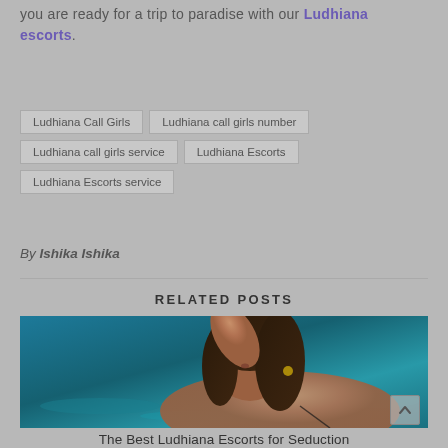you are ready for a trip to paradise with our Ludhiana escorts.
Ludhiana Call Girls
Ludhiana call girls number
Ludhiana call girls service
Ludhiana Escorts
Ludhiana Escorts service
By Ishika Ishika
RELATED POSTS
[Figure (photo): Woman in teal/blue water setting]
The Best Ludhiana Escorts for Seduction